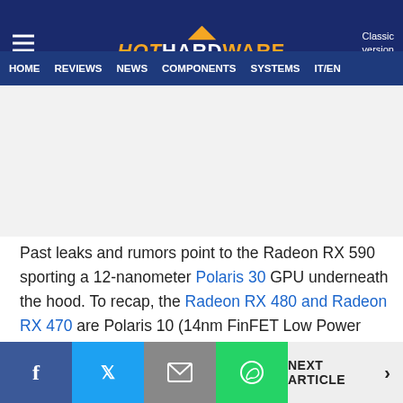HotHardware — Classic version | HOME | REVIEWS | NEWS | COMPONENTS | SYSTEMS | IT/EN
[Figure (other): Advertisement banner placeholder (gray area)]
Past leaks and rumors point to the Radeon RX 590 sporting a 12-nanometer Polaris 30 GPU underneath the hood. To recap, the Radeon RX 480 and Radeon RX 470 are Polaris 10 (14nm FinFET Low Power Plus) parts, the Radeon RX 580 and Radeon RX 570 are based on Polaris 20 (14LPP+), which AMD optimized to achieve higher clockspeeds.
f | Twitter | Email | WhatsApp | NEXT ARTICLE >